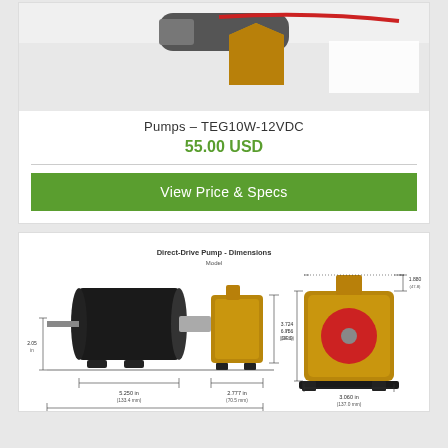[Figure (photo): Photo of a brass pump fitting with red wire, TEG10W-12VDC pump product]
Pumps – TEG10W-12VDC
55.00 USD
View Price & Specs
[Figure (engineering-diagram): Direct-Drive Pump dimensional drawing showing side view and front view with dimensions labeled]